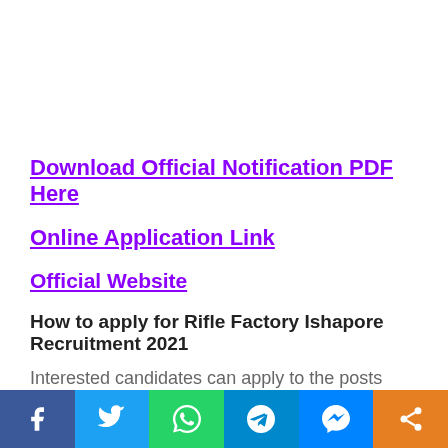Download Official Notification PDF Here
Online Application Link
Official Website
How to apply for Rifle Factory Ishapore Recruitment 2021
Interested candidates can apply to the posts through the online mode only on or before 30
Social share bar: Facebook, Twitter, WhatsApp, Telegram, Messenger, Share